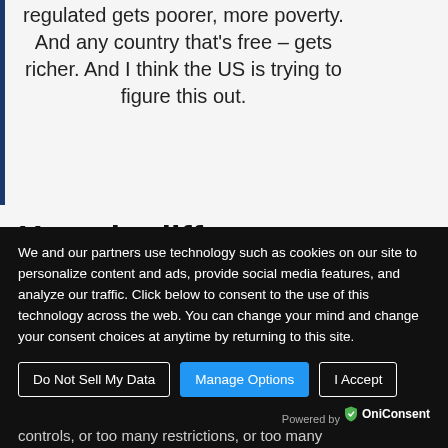regulated gets poorer, more poverty. And any country that's free – gets richer. And I think the US is trying to figure this out.
How do different countries handle crypto regulations?
We and our partners use technology such as cookies on our site to personalize content and ads, provide social media features, and analyze our traffic. Click below to consent to the use of this technology across the web. You can change your mind and change your consent choices at anytime by returning to this site.
controls, or too many restrictions, or too many